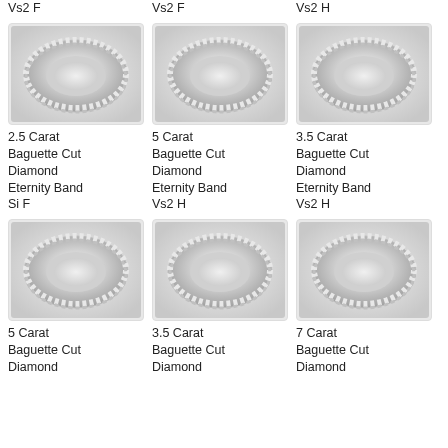Vs2 F
Vs2 F
Vs2 H
[Figure (photo): Diamond baguette cut eternity band ring, silver/white gold, angled view]
2.5 Carat Baguette Cut Diamond Eternity Band Si F
[Figure (photo): Diamond baguette cut eternity band ring, silver/white gold, angled view]
5 Carat Baguette Cut Diamond Eternity Band Vs2 H
[Figure (photo): Diamond baguette cut eternity band ring, silver/white gold, angled view]
3.5 Carat Baguette Cut Diamond Eternity Band Vs2 H
[Figure (photo): Diamond baguette cut eternity band ring, silver/white gold, angled view]
5 Carat Baguette Cut Diamond
[Figure (photo): Diamond baguette cut eternity band ring, silver/white gold, angled view]
3.5 Carat Baguette Cut Diamond
[Figure (photo): Diamond baguette cut eternity band ring, silver/white gold, angled view]
7 Carat Baguette Cut Diamond